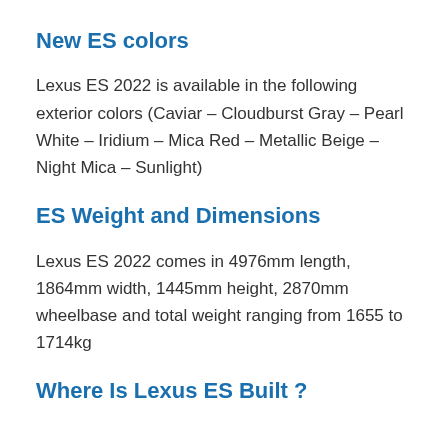New ES colors
Lexus ES 2022 is available in the following exterior colors (Caviar – Cloudburst Gray – Pearl White – Iridium – Mica Red – Metallic Beige – Night Mica – Sunlight)
ES Weight and Dimensions
Lexus ES 2022 comes in 4976mm length, 1864mm width, 1445mm height, 2870mm wheelbase and total weight ranging from 1655 to 1714kg
Where Is Lexus ES Built ?